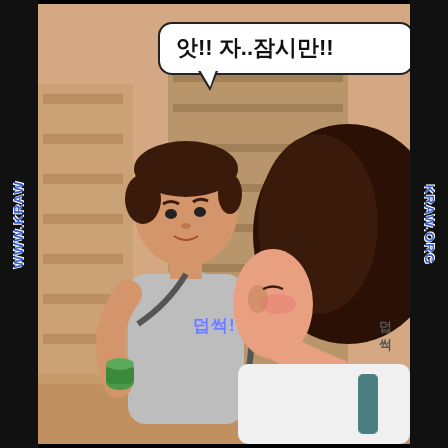[Figure (illustration): Korean webtoon/manhwa panel showing two characters in what appears to be a convenience store or storage room. A young man in a gray t-shirt is holding a green can (beverage) and turning toward a young woman with dark hair who is facing away. A speech bubble contains Korean text '앗!! 자..잠시만!!' and a sound effect '덥썩!' appears near the man's hand. Watermarks 'WWW.KRAW.ORG' appear on both left and right black side bars.]
앗!! 자..잠시만!!
덥썩!